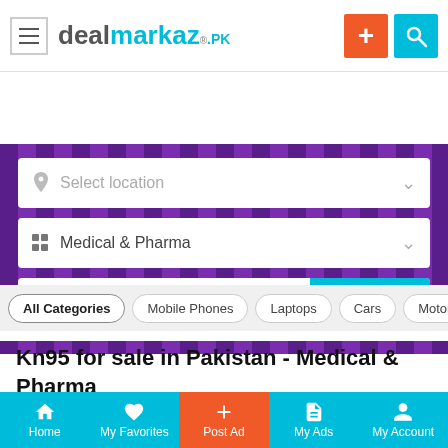[Figure (screenshot): DealMarkaz.pk mobile app header with hamburger menu, logo, plus button and search icon]
[Figure (screenshot): Purple search area with location selector, Medical & Pharma category, and kn95 keyword search box with SEARCH button]
All Categories
Mobile Phones
Laptops
Cars
Motorcycles
Kn95 for sale in Pakistan - Medical & Pharma
✓ Search Filters
Home   My Favorites   Post Ad   My Ads   My Account